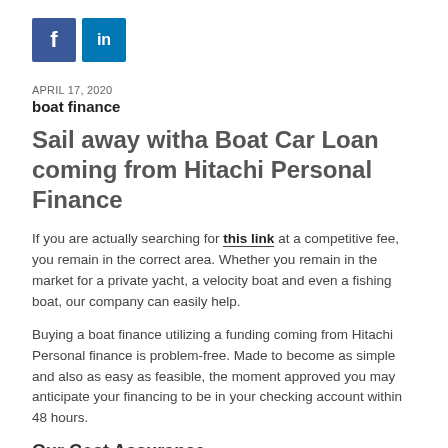[Figure (logo): Facebook and LinkedIn social media icons — blue squares with 'f' and 'in' logos]
APRIL 17, 2020
boat finance
Sail away witha Boat Car Loan coming from Hitachi Personal Finance
If you are actually searching for this link at a competitive fee, you remain in the correct area. Whether you remain in the market for a private yacht, a velocity boat and even a fishing boat, our company can easily help.
Buying a boat finance utilizing a funding coming from Hitachi Personal finance is problem-free. Made to become as simple and also as easy as feasible, the moment approved you may anticipate your financing to be in your checking account within 48 hours.
Our Cost Assurance